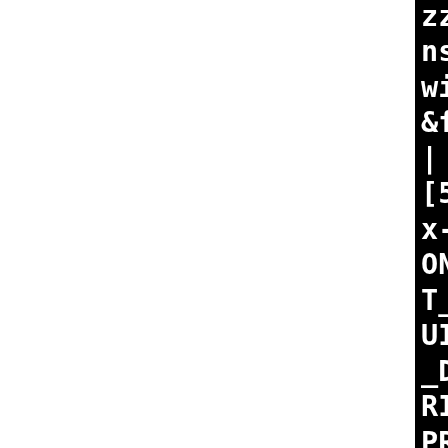zzz | explicit KNotificat... nst QString &eventId, QWid... widget, const Notification... &flags = CloseOnTimeout); | ^~~~~~~~~~~~~ [51/157] /usr/bin/i686-plo... x-g++ -DHAVE_KPEOPLE -DKCO... ONS_LIB -DQT_CONCURRENT_LI... T_CORE_LIB -DQT_DBUS_LIB -... UI_LIB -DQT_NETWORK_LIB -D... _DEBUG -DQT_NO_URL_CAST_FR... RING -DQT_POSITIONING_LIB ... PRINTSUPPORT_LIB -DQT_QMLN... _LIB -DQT_QML_LIB -DQT_QUI... B -DQT_WEBCHANNEL_LIB -DQT... NGINECORE_LIB -DQT_WEBENG... GETS_LIB -DQT_WIDGETS_LIB ... XML_LIB -DTRANSLATION_DOMA... "ktpchat" -D_FILE_OFFSET... =64 -D_GNU_SOURCE -D_LARGR... 4_SOURCE -Dktpchat_EXPORTS... mp/B.zkgyqcfn/BUILD/ktp-te... -22.04.1/build/lib -I/tmp/... yqcfn/BUILD/ktp-text-ui-22...